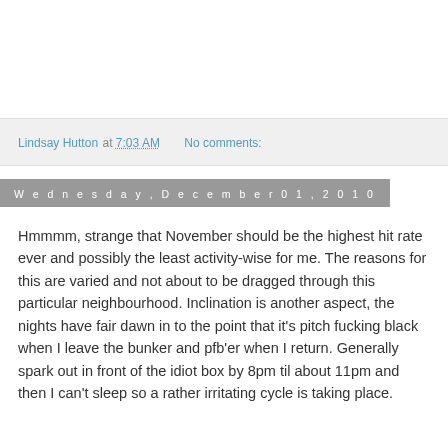Lindsay Hutton at 7:03 AM   No comments:
Wednesday, December 01, 2010
Hmmmm, strange that November should be the highest hit rate ever and possibly the least activity-wise for me. The reasons for this are varied and not about to be dragged through this particular neighbourhood. Inclination is another aspect, the nights have fair dawn in to the point that it's pitch fucking black when I leave the bunker and pfb'er when I return. Generally spark out in front of the idiot box by 8pm til about 11pm and then I can't sleep so a rather irritating cycle is taking place.